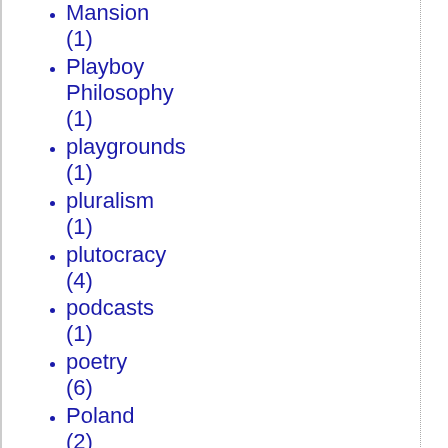Mansion (1)
Playboy Philosophy (1)
playgrounds (1)
pluralism (1)
plutocracy (4)
podcasts (1)
poetry (6)
Poland (2)
police (1)
police brutality (1)
police reform (1)